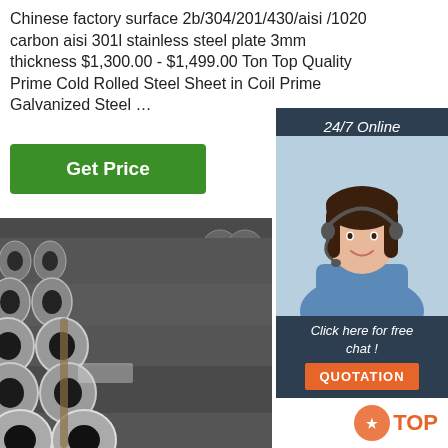Chinese factory surface 2b/304/201/430/aisi /1020 carbon aisi 301l stainless steel plate 3mm thickness $1,300.00 - $1,499.00 Ton Top Quality Prime Cold Rolled Steel Sheet in Coil Prime Galvanized Steel …
[Figure (other): Green 'Get Price' button]
[Figure (other): '24/7 Online' label on dark teal panel with customer service representative photo wearing headset, smiling]
Click here for free chat !
QUOTATION
[Figure (photo): Stack of dark gray carbon steel seamless pipes/tubes bundled together, viewed from front showing circular cross-sections]
[Figure (logo): TOP logo watermark in orange/red in lower right corner]